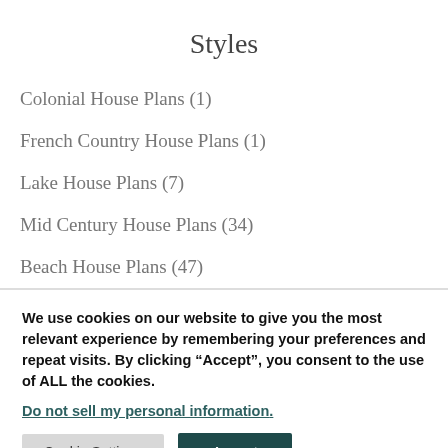Styles
Colonial House Plans (1)
French Country House Plans (1)
Lake House Plans (7)
Mid Century House Plans (34)
Beach House Plans (47)
We use cookies on our website to give you the most relevant experience by remembering your preferences and repeat visits. By clicking “Accept”, you consent to the use of ALL the cookies. Do not sell my personal information.